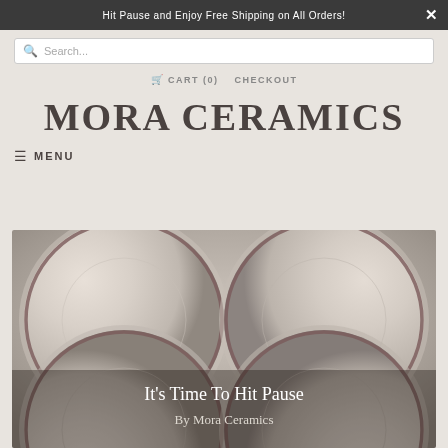Hit Pause and Enjoy Free Shipping on All Orders!
Search...
CART (0)   CHECKOUT
MORA CERAMICS
≡ MENU
[Figure (photo): Overhead photo of ceramic plates with red-rimmed edges arranged in a close cluster, with text overlay reading 'It's Time To Hit Pause By Mora Ceramics']
It's Time To Hit Pause
By Mora Ceramics